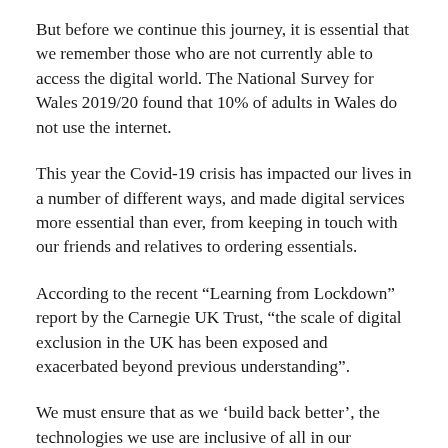But before we continue this journey, it is essential that we remember those who are not currently able to access the digital world. The National Survey for Wales 2019/20 found that 10% of adults in Wales do not use the internet.
This year the Covid-19 crisis has impacted our lives in a number of different ways, and made digital services more essential than ever, from keeping in touch with our friends and relatives to ordering essentials.
According to the recent “Learning from Lockdown” report by the Carnegie UK Trust, “the scale of digital exclusion in the UK has been exposed and exacerbated beyond previous understanding”.
We must ensure that as we ‘build back better’, the technologies we use are inclusive of all in our communities, especially those who need support and